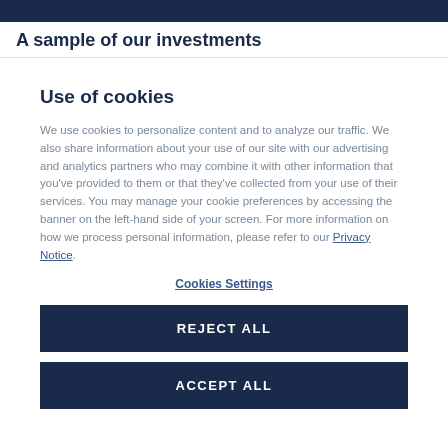A sample of our investments
Use of cookies
We use cookies to personalize content and to analyze our traffic. We also share information about your use of our site with our advertising and analytics partners who may combine it with other information that you’ve provided to them or that they’ve collected from your use of their services. You may manage your cookie preferences by accessing the banner on the left-hand side of your screen. For more information on how we process personal information, please refer to our Privacy Notice.
Cookies Settings
REJECT ALL
ACCEPT ALL